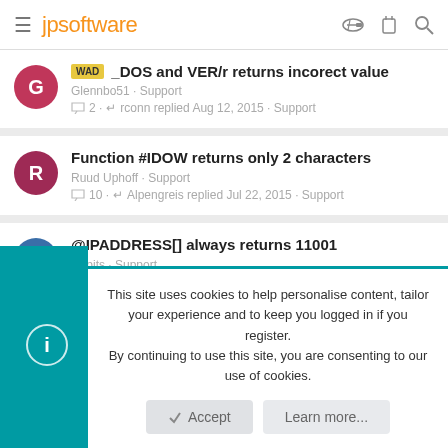jpsoftware
WAD _DOS and VER/r returns incorect value
Glennbo51 · Support
2 · rconn replied Aug 12, 2015 · Support
Function #IDOW returns only 2 characters
Ruud Uphoff · Support
10 · Alpengreis replied Jul 22, 2015 · Support
@IPADDRESS[] always returns 11001
djspits · Support
8 · vefatica replied Dec 23, 2014 · Support
This site uses cookies to help personalise content, tailor your experience and to keep you logged in if you register.
By continuing to use this site, you are consenting to our use of cookies.